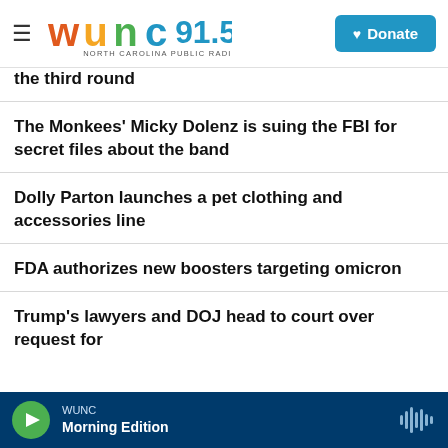WUNC 91.5 North Carolina Public Radio — Donate
the third round
The Monkees' Micky Dolenz is suing the FBI for secret files about the band
Dolly Parton launches a pet clothing and accessories line
FDA authorizes new boosters targeting omicron
Trump's lawyers and DOJ head to court over request for
WUNC — Morning Edition